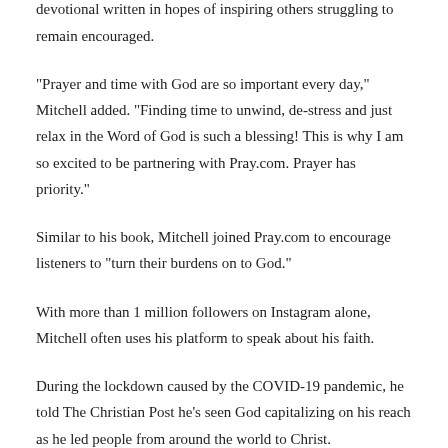recently published his debut book, introduced a 90-day devotional written in hopes of inspiring others struggling to remain encouraged.
"Prayer and time with God are so important every day," Mitchell added. "Finding time to unwind, de-stress and just relax in the Word of God is such a blessing! This is why I am so excited to be partnering with Pray.com. Prayer has priority."
Similar to his book, Mitchell joined Pray.com to encourage listeners to "turn their burdens on to God."
With more than 1 million followers on Instagram alone, Mitchell often uses his platform to speak about his faith.
During the lockdown caused by the COVID-19 pandemic, he told The Christian Post he's seen God capitalizing on his reach as he led people from around the world to Christ.
"Now I've got people from all over the world and from the UK, fans who know